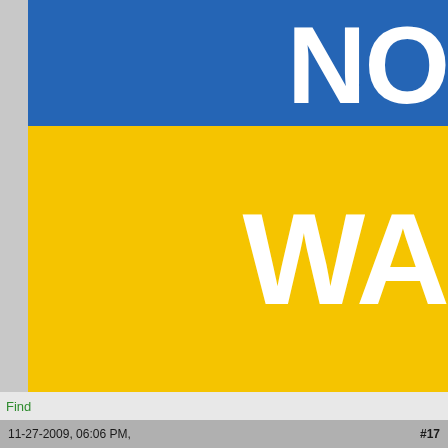[Figure (illustration): Cropped sign or banner with blue upper band showing partial white text 'NO' (cut off at right) and large yellow/gold lower band showing partial white text 'WA' (cut off at right). Appears to be a warning or notice sign.]
Find
11-27-2009, 06:06 PM,
#17